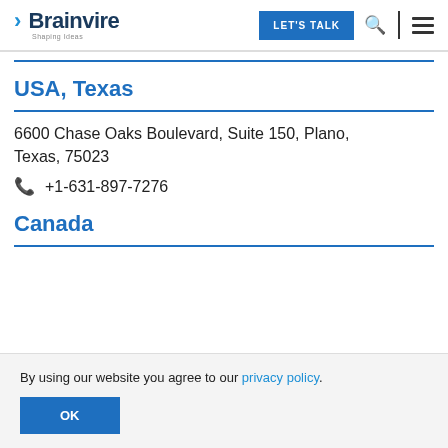Brainvire — Shaping Ideas | LET'S TALK
USA, Texas
6600 Chase Oaks Boulevard, Suite 150, Plano, Texas, 75023
+1-631-897-7276
Canada
By using our website you agree to our privacy policy.